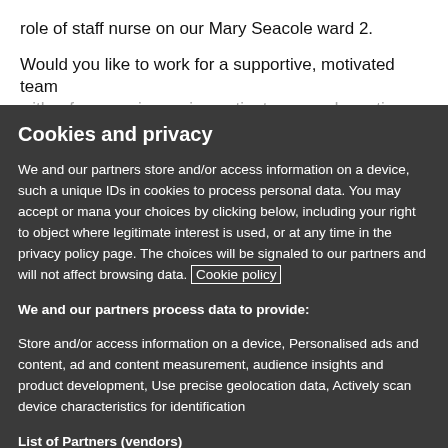role of staff nurse on our Mary Seacole ward 2.
Would you like to work for a supportive, motivated team with a focus on improving patient care and creating…
Cookies and privacy
We and our partners store and/or access information on a device, such as unique IDs in cookies to process personal data. You may accept or manage your choices by clicking below, including your right to object where legitimate interest is used, or at any time in the privacy policy page. These choices will be signaled to our partners and will not affect browsing data. Cookie policy
We and our partners process data to provide:
Store and/or access information on a device, Personalised ads and content, ad and content measurement, audience insights and product development, Use precise geolocation data, Actively scan device characteristics for identification
List of Partners (vendors)